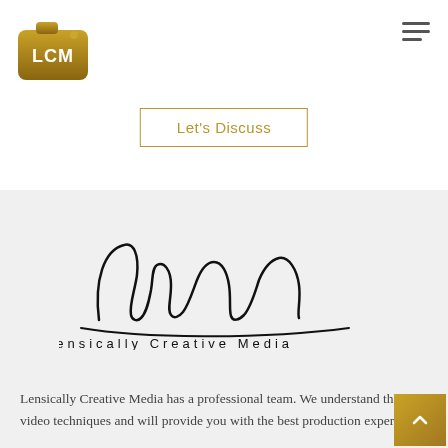[Figure (logo): LCM camera logo in gold/brown with white LCM text inside a camera icon shape]
[Figure (other): Hamburger menu icon (three horizontal lines) in top right corner]
Let's Discuss
[Figure (logo): Lensically Creative Media cursive script logo with 'lcm' in handwritten style and 'Lensically Creative Media' text below]
Lensically Creative Media has a professional team. We understand the best video techniques and will provide you with the best production experience.